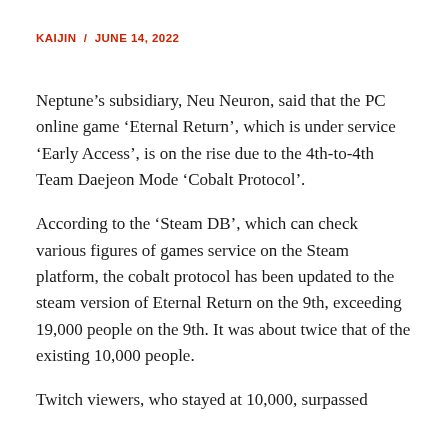KAIJIN / JUNE 14, 2022
Neptune’s subsidiary, Neu Neuron, said that the PC online game ‘Eternal Return’, which is under service ‘Early Access’, is on the rise due to the 4th-to-4th Team Daejeon Mode ‘Cobalt Protocol’.
According to the ‘Steam DB’, which can check various figures of games service on the Steam platform, the cobalt protocol has been updated to the steam version of Eternal Return on the 9th, exceeding 19,000 people on the 9th. It was about twice that of the existing 10,000 people.
Twitch viewers, who stayed at 10,000, surpassed